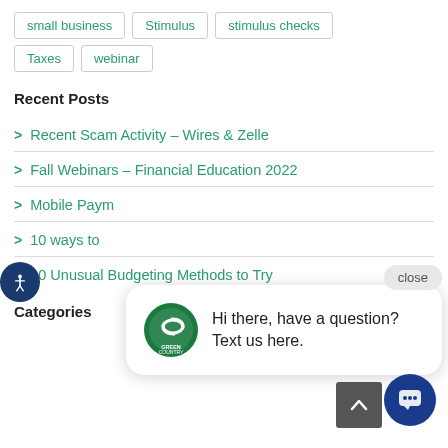small business
Stimulus
stimulus checks
Taxes
webinar
Recent Posts
Recent Scam Activity – Wires & Zelle
Fall Webinars – Financial Education 2022
Mobile Paym…
10 ways to…
10 Unusual Budgeting Methods to Try
Categories
[Figure (other): Chat popup with Green Country logo: 'Hi there, have a question? Text us here.' with close button, and chat bubble button below right.]